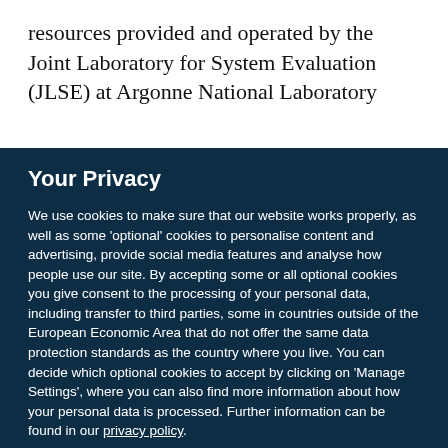resources provided and operated by the Joint Laboratory for System Evaluation (JLSE) at Argonne National Laboratory
Your Privacy
We use cookies to make sure that our website works properly, as well as some 'optional' cookies to personalise content and advertising, provide social media features and analyse how people use our site. By accepting some or all optional cookies you give consent to the processing of your personal data, including transfer to third parties, some in countries outside of the European Economic Area that do not offer the same data protection standards as the country where you live. You can decide which optional cookies to accept by clicking on 'Manage Settings', where you can also find more information about how your personal data is processed. Further information can be found in our privacy policy.
Accept all cookies
Manage preferences